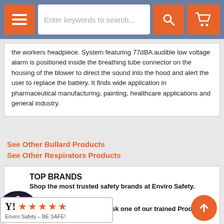[Figure (screenshot): Website navigation header with orange hamburger menu button, search input bar saying 'Enter keywords to search...', orange search button, and orange shopping cart button, on a blue-grey background.]
the workers headpiece. System featuring 77dBA audible low voltage alarm is positioned inside the breathing tube connector on the housing of the blower to direct the sound into the hood and alert the user to replace the battery. It finds wide application in pharmaceutical manufacturing, painting, healthcare applications and general industry.
See Other Bullard Products
See Other Respirators Products
TOP BRANDS
Shop the most trusted safety brands at Enviro Safety.
SPECIALISTS
Got a question? Call and ask one of our trained Product Specialists.